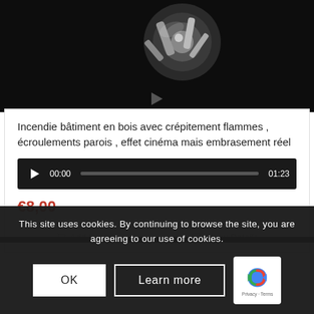[Figure (photo): Video thumbnail showing a metallic mechanical part (bicycle gear/chain component) against a dark background]
Incendie bâtiment en bois avec crépitement flammes , écroulements parois , effet cinéma mais embrasement réel
00:00  [progress bar]  01:23
€8,00
Add to cart   Show Details
This site uses cookies. By continuing to browse the site, you are agreeing to our use of cookies.
OK   Learn more